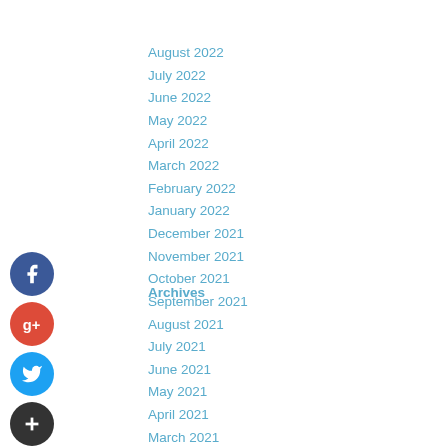August 2022
July 2022
June 2022
May 2022
April 2022
March 2022
February 2022
January 2022
December 2021
November 2021
October 2021
September 2021
Archives
August 2021
July 2021
June 2021
May 2021
April 2021
March 2021
February 2021
January 2021
December 2020